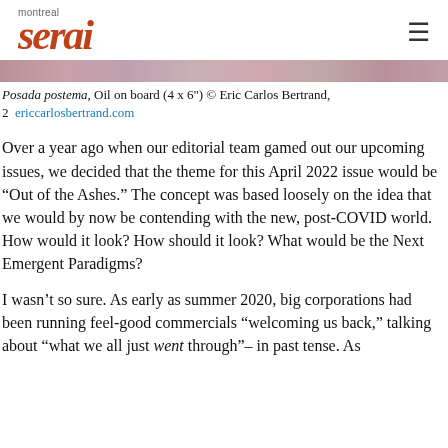montreal serai
[Figure (photo): A close-up image of what appears to be a textured surface with pinkish-purple and earthy tones, likely a detail from a painting.]
Posada postema, Oil on board (4 x 6") © Eric Carlos Bertrand, 2  ericcarlosbertrand.com
Over a year ago when our editorial team gamed out our upcoming issues, we decided that the theme for this April 2022 issue would be “Out of the Ashes.” The concept was based loosely on the idea that we would by now be contending with the new, post-COVID world. How would it look? How should it look? What would be the Next Emergent Paradigms?
I wasn’t so sure. As early as summer 2020, big corporations had been running feel-good commercials “welcoming us back,” talking about “what we all just went through”– in past tense. As